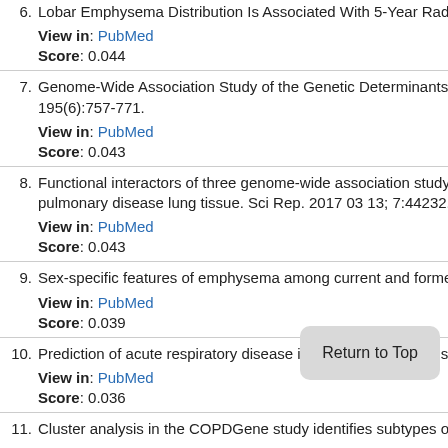6. Lobar Emphysema Distribution Is Associated With 5-Year Radiological D...
View in: PubMed
Score: 0.044
7. Genome-Wide Association Study of the Genetic Determinants of Emphys... 195(6):757-771.
View in: PubMed
Score: 0.043
8. Functional interactors of three genome-wide association study genes are... pulmonary disease lung tissue. Sci Rep. 2017 03 13; 7:44232.
View in: PubMed
Score: 0.043
9. Sex-specific features of emphysema among current and former smokers...
View in: PubMed
Score: 0.039
10. Prediction of acute respiratory disease in current and former smokers wit...
View in: PubMed
Score: 0.036
11. Cluster analysis in the COPDGene study identifies subtypes of smokers...